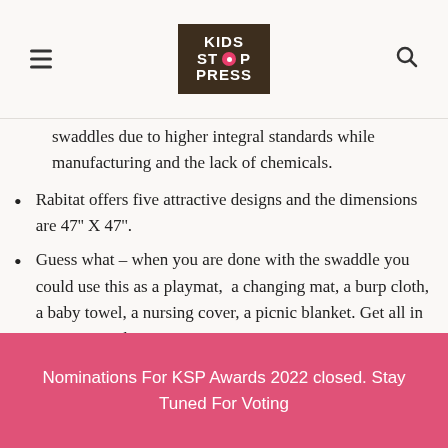Kids Stop Press
swaddles due to higher integral standards while manufacturing and the lack of chemicals.
Rabitat offers five attractive designs and the dimensions are 47" X 47".
Guess what – when you are done with the swaddle you could use this as a playmat,  a changing mat, a burp cloth, a baby towel, a nursing cover, a picnic blanket. Get all in just one purchase.
Do try these swaddles for your baby and you never
Nominations For KSP Awards 2022 closed. Stay Tuned For Voting